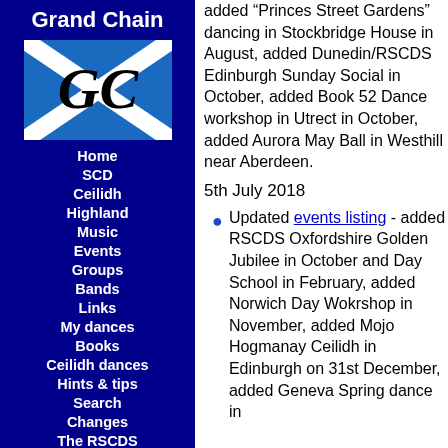Grand Chain
[Figure (logo): Grand Chain logo: Scottish Saltire flag (blue with white X cross) with stylized GC letters in black]
Home
SCD
Ceilidh
Highland
Music
Events
Groups
Bands
Links
My dances
Books
Ceilidh dances
Hints & tips
Search
Changes
The RSCDS
added "Princes Street Gardens" dancing in Stockbridge House in August, added Dunedin/RSCDS Edinburgh Sunday Social in October, added Book 52 Dance workshop in Utrect in October, added Aurora May Ball in Westhill near Aberdeen.
5th July 2018
Updated events listing - added RSCDS Oxfordshire Golden Jubilee in October and Day School in February, added Norwich Day Wokrshop in November, added Mojo Hogmanay Ceilidh in Edinburgh on 31st December, added Geneva Spring dance in